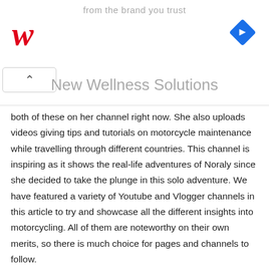[Figure (other): Walgreens advertisement banner with tagline 'from the brand you trust', Walgreens cursive W logo in red, blue navigation diamond icon, and subtitle 'New Wellness Solutions']
both of these on her channel right now. She also uploads videos giving tips and tutorials on motorcycle maintenance while travelling through different countries. This channel is inspiring as it shows the real-life adventures of Noraly since she decided to take the plunge in this solo adventure. We have featured a variety of Youtube and Vlogger channels in this article to try and showcase all the different insights into motorcycling. All of them are noteworthy on their own merits, so there is much choice for pages and channels to follow.
8. Walteriffic
[Figure (screenshot): Dark video thumbnail at bottom of page]